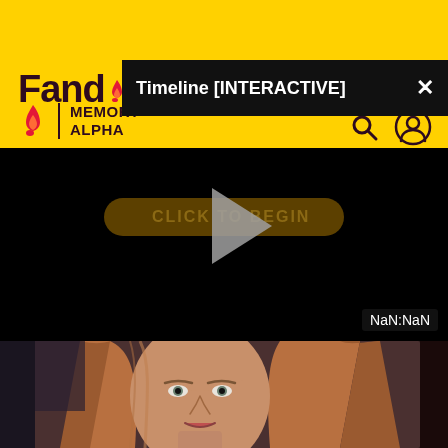Fandom | Memory Alpha
[Figure (screenshot): Fandom website header with yellow background showing the Fandom logo and Memory Alpha branding with search and user icons. A black popup bar overlays the top portion showing 'Timeline [INTERACTIVE]' with an X close button.]
[Figure (screenshot): Black video player area with a 'CLICK TO BEGIN' button in dark gold and a grey play triangle button in the center. Timer showing 'NaN:NaN' in the bottom right corner.]
[Figure (photo): Close-up photo of a woman with long reddish-blonde hair looking slightly to the side, in a dimly lit setting.]